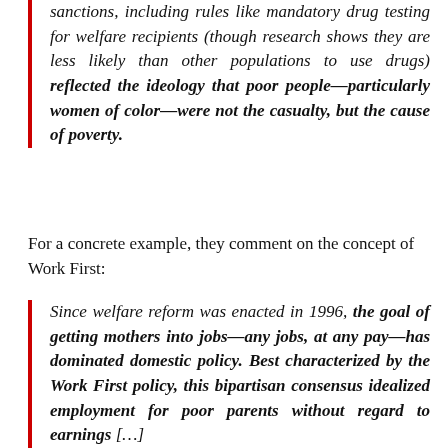sanctions, including rules like mandatory drug testing for welfare recipients (though research shows they are less likely than other populations to use drugs) reflected the ideology that poor people—particularly women of color—were not the casualty, but the cause of poverty.
For a concrete example, they comment on the concept of Work First:
Since welfare reform was enacted in 1996, the goal of getting mothers into jobs—any jobs, at any pay—has dominated domestic policy. Best characterized by the Work First policy, this bipartisan consensus idealized employment for poor parents without regard to earnings […]